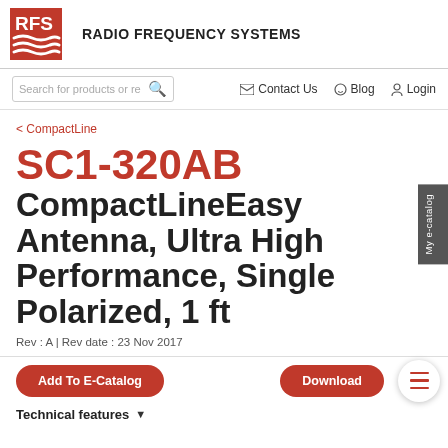RFS RADIO FREQUENCY SYSTEMS
Search for products or re | Contact Us | Blog | Login
< CompactLine
SC1-320AB CompactLineEasy Antenna, Ultra High Performance, Single Polarized, 1 ft
Rev : A | Rev date : 23 Nov 2017
Add To E-Catalog | Download
Technical features ▼